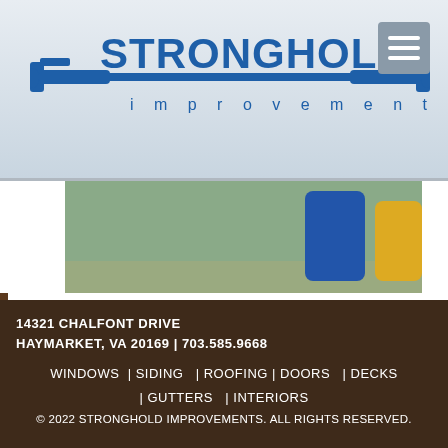[Figure (logo): Stronghold Improvements logo — blue text with carpenter clamps on each side of a horizontal bar]
[Figure (photo): Partial photo of people standing on a street/driveway, showing lower bodies]
[Figure (logo): Extreme Makeover Home Edition logo — orange house shape with red italic 'Extreme' script and bold black 'MAKEOVER HOME EDITION' text]
We were part of an Extreme Makeover Home Edition Project. Check out our Portfolio for more photos of this
14321 CHALFONT DRIVE
HAYMARKET, VA 20169 | 703.585.9668
WINDOWS | SIDING | ROOFING | DOORS | DECKS | GUTTERS | INTERIORS
© 2022 STRONGHOLD IMPROVEMENTS. ALL RIGHTS RESERVED.